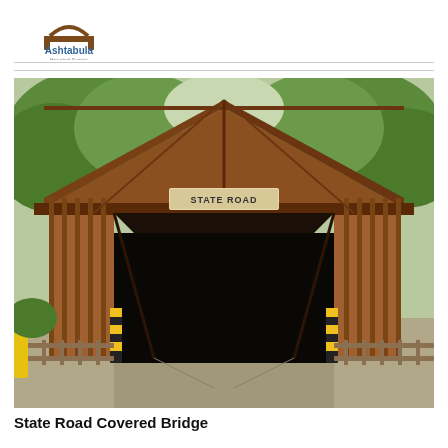Ashtabula Historical Society
[Figure (photo): Photograph of the State Road Covered Bridge, a wooden covered bridge with a peaked roof and large open entryway flanked by yellow and black striped posts, surrounded by green trees in summer.]
State Road Covered Bridge